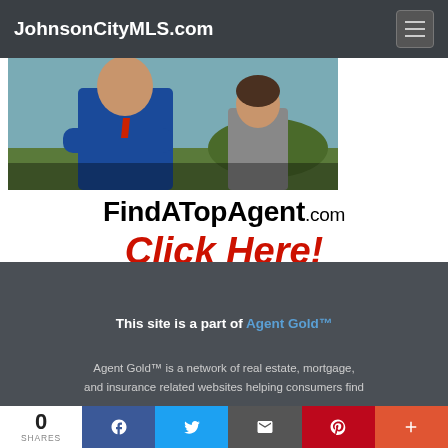JohnsonCityMLS.com
[Figure (photo): Photo of people standing, partially cropped at top. A person in a blue jacket with arms crossed is prominently visible.]
FindATopAgent.com
Click Here!
This site is a part of Agent Gold™
Agent Gold™ is a network of real estate, mortgage, and insurance related websites helping consumers find
0 SHARES